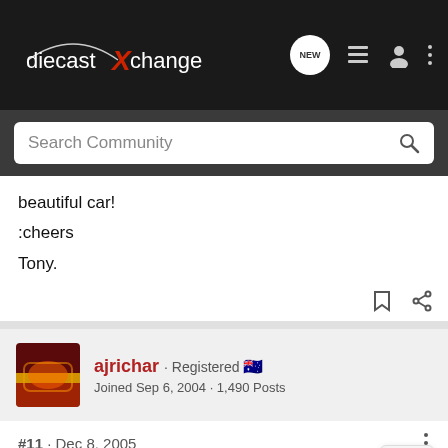diecastXchange — Navigation bar with NEW button, list icon, user icon, more icon
Search Community
beautiful car!
:cheers
Tony.
ajrichar · Registered
Joined Sep 6, 2004 · 1,490 Posts
#11 · Dec 8, 2005
Hi Tony,
I too have a far greater appreciation for a wider range pf cars since entering the DX world! It can be a little intimidating when